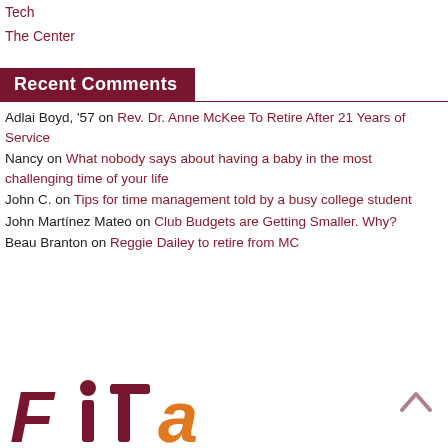Tech
The Center
Recent Comments
Adlai Boyd, '57 on Rev. Dr. Anne McKee To Retire After 21 Years of Service
Nancy on What nobody says about having a baby in the most challenging time of your life
John C. on Tips for time management told by a busy college student
John Martínez Mateo on Club Budgets are Getting Smaller. Why?
Beau Branton on Reggie Dailey to retire from MC
[Figure (logo): Stylized logo text in dark red and orange colors, partially visible at bottom of page]